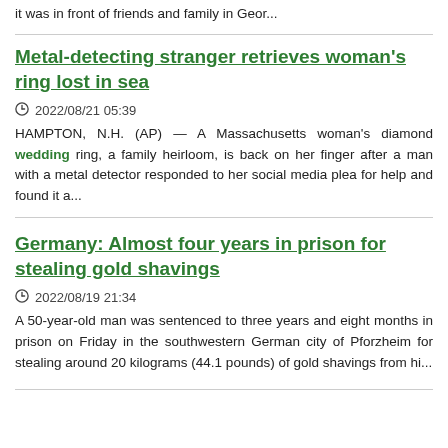it was in front of friends and family in Geor...
Metal-detecting stranger retrieves woman's ring lost in sea
2022/08/21 05:39
HAMPTON, N.H. (AP) — A Massachusetts woman's diamond wedding ring, a family heirloom, is back on her finger after a man with a metal detector responded to her social media plea for help and found it a...
Germany: Almost four years in prison for stealing gold shavings
2022/08/19 21:34
A 50-year-old man was sentenced to three years and eight months in prison on Friday in the southwestern German city of Pforzheim for stealing around 20 kilograms (44.1 pounds) of gold shavings from hi...